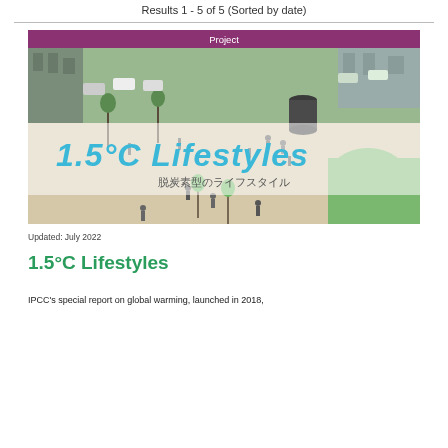Results 1 - 5 of 5 (Sorted by date)
Project
[Figure (photo): Aerial/elevated view of an urban plaza with people walking, trees, parked cars and modern buildings, overlaid with handwritten-style text '1.5°C Lifestyles' in blue and Japanese text '脱炭素型のライフスタイル' in gray]
Updated: July 2022
1.5°C Lifestyles
IPCC's special report on global warming, launched in 2018,